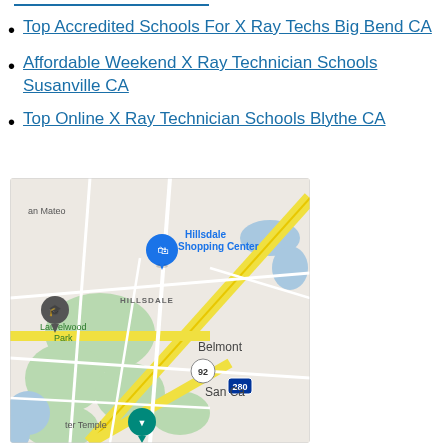Top Accredited Schools For X Ray Techs Big Bend CA
Affordable Weekend X Ray Technician Schools Susanville CA
Top Online X Ray Technician Schools Blythe CA
[Figure (map): Google Maps showing Hillsdale area in San Mateo CA, with Hillsdale Shopping Center pin, Laurelwood Park, Belmont, San Carlos, and highway 92 and 280 visible.]